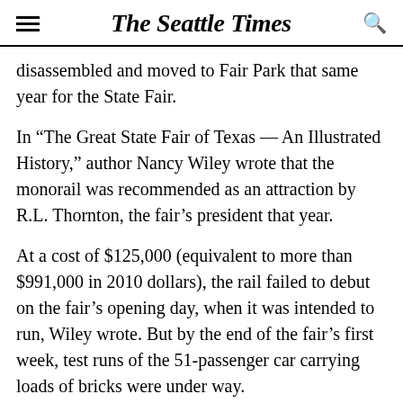The Seattle Times
disassembled and moved to Fair Park that same year for the State Fair.
In “The Great State Fair of Texas — An Illustrated History,” author Nancy Wiley wrote that the monorail was recommended as an attraction by R.L. Thornton, the fair’s president that year.
At a cost of $125,000 (equivalent to more than $991,000 in 2010 dollars), the rail failed to debut on the fair’s opening day, when it was intended to run, Wiley wrote. But by the end of the fair’s first week, test runs of the 51-passenger car carrying loads of bricks were under way.
The monorail and Trailblazer didn’t stay long in